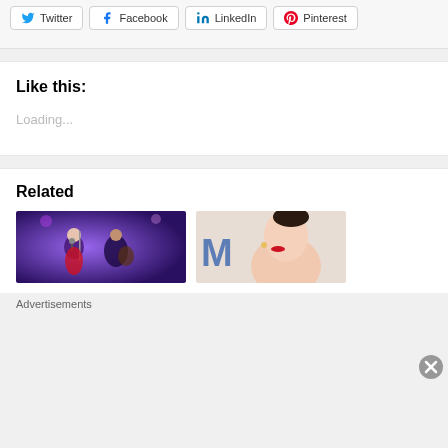[Figure (screenshot): Social share buttons: Twitter, Facebook, LinkedIn, Pinterest]
Like this:
Loading...
Related
[Figure (photo): Woman in red dress singing into microphone on stage with purple lighting, guitarist in background]
[Figure (photo): Woman with red lips and updo hairstyle wearing earrings, letter M visible in background]
Advertisements